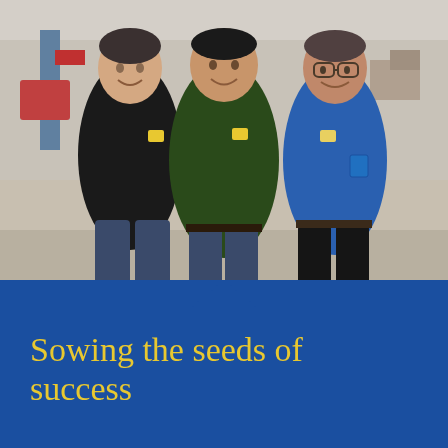[Figure (photo): Three men standing in an industrial/warehouse setting. Left man wears a black jacket with a logo. Center man wears a dark green polo shirt with a logo. Right man wears a blue button-up shirt with a logo. All three are smiling at the camera.]
Sowing the seeds of success